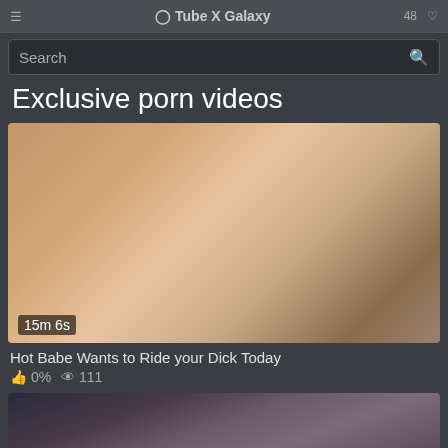Tube X Galaxy
Search
Exclusive porn videos
[Figure (photo): Video thumbnail showing adult content, duration 15m 6s]
Hot Babe Wants to Ride your Dick Today
0%  111
[Figure (photo): Second video thumbnail, partially visible]